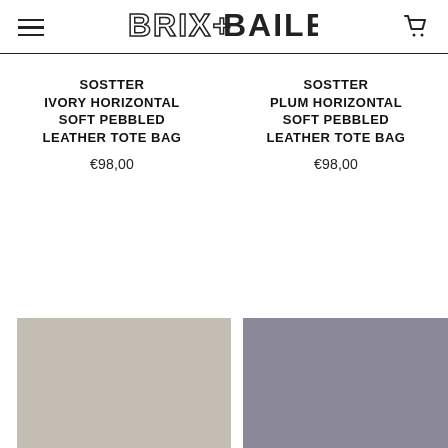BRIX+BAILEY
SOSTTER IVORY HORIZONTAL SOFT PEBBLED LEATHER TOTE BAG
€98,00
SOSTTER PLUM HORIZONTAL SOFT PEBBLED LEATHER TOTE BAG
€98,00
[Figure (photo): Ivory/beige colored leather tote bag product image placeholder]
[Figure (photo): Plum/purple-grey colored leather tote bag product image placeholder]